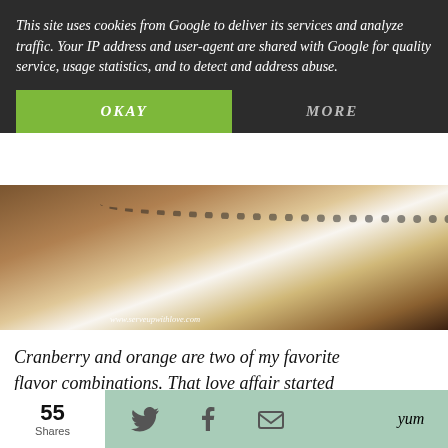This site uses cookies from Google to deliver its services and analyze traffic. Your IP address and user-agent are shared with Google for quality service, usage statistics, and to detect and address abuse.
OKAY
MORE
[Figure (photo): Close-up photo of a white decorative cake on a stand, with watermark www.serveupwithlove.com]
Cranberry and orange are two of my favorite flavor combinations. That love affair started when I was a little girl living with my parents. My Mom would always make a cranberry bread each and every holiday season. It is by far my favorite indulgence at Christmas time. I am still work on her to let me share that recipe with y'all but in the meantime I wanted to create a recipe with the same flavors. My Mom's birthday was yesterday so of course, this is the
55
Shares